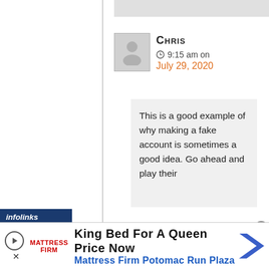[Figure (screenshot): User avatar placeholder icon (grey square with person silhouette)]
CHRIS
⊕ 9:15 am on
July 29, 2020
This is a good example of why making a fake account is sometimes a good idea. Go ahead and play their
[Figure (other): infolinks advertisement banner label]
[Figure (other): Mattress Firm ad banner: King Bed For A Queen Price Now, Mattress Firm Potomac Run Plaza]